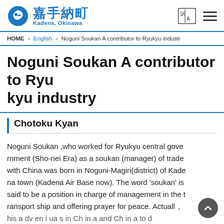嘉手納町 Kadena, Okinawa
HOME > English > Noguni Soukan A contributor to Ryukyu industr
Noguni Soukan A contributor to Ryukyu industry
Chotoku Kyan
Noguni Soukan ,who worked for Ryukyu central government (Sho-nei Era) as a soukan (manager) of trade with China was born in Noguni-Magiri(district) of Kadena town (Kadena Air Base now). The word 'soukan' is said to be a position in charge of management in the transport ship and offering prayer for peace. Actually,